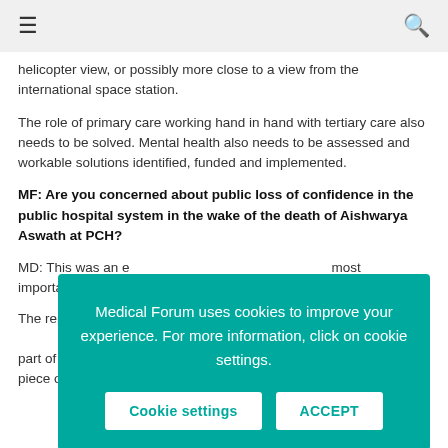≡  🔍
helicopter view, or possibly more close to a view from the international space station.
The role of primary care working hand in hand with tertiary care also needs to be solved. Mental health also needs to be assessed and workable solutions identified, funded and implemented.
MF: Are you concerned about public loss of confidence in the public hospital system in the wake of the death of Aishwarya Aswath at PCH?
MD: This was an e... most importantly... handled well at al...
The reporting of t... was unnecessary... healthcare profes... AHPRA as part of... investigation, and just because they were the last piece of
Medical Forum uses cookies to improve your experience. For more information, click on cookie settings.
Cookie settings   ACCEPT